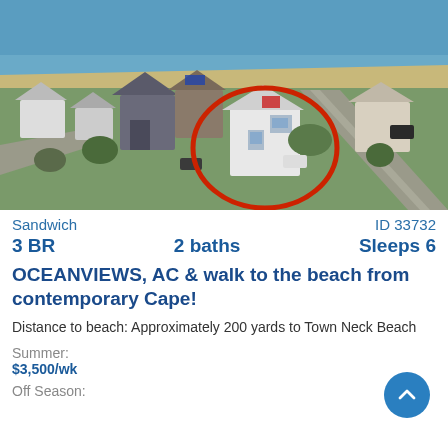[Figure (photo): Aerial drone photo of a coastal neighborhood in Sandwich, MA. A white Cape-style house is circled in red. The ocean and sandy beach are visible in the background.]
Sandwich    ID 33732
3 BR    2 baths    Sleeps 6
OCEANVIEWS, AC & walk to the beach from contemporary Cape!
Distance to beach: Approximately 200 yards to Town Neck Beach
Summer:
$3,500/wk
Off Season: